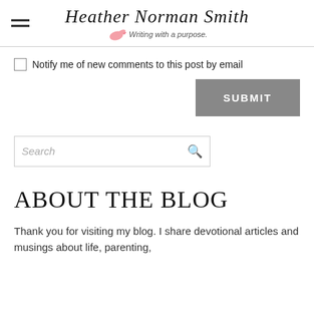Heather Norman Smith — Writing with a purpose.
Notify me of new comments to this post by email
SUBMIT
Search
ABOUT THE BLOG
Thank you for visiting my blog. I share devotional articles and musings about life, parenting,